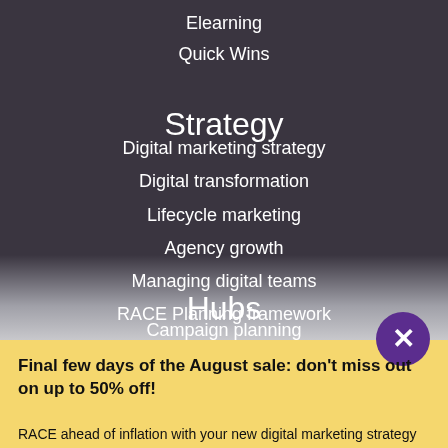Elearning
Quick Wins
Strategy
Digital marketing strategy
Digital transformation
Lifecycle marketing
Agency growth
Managing digital teams
RACE Planning framework
Hubs
Campaign planning
Content marketing
Ecommerce
Email marketing
Final few days of the August sale: don't miss out on up to 50% off!
RACE ahead of inflation with your new digital marketing strategy